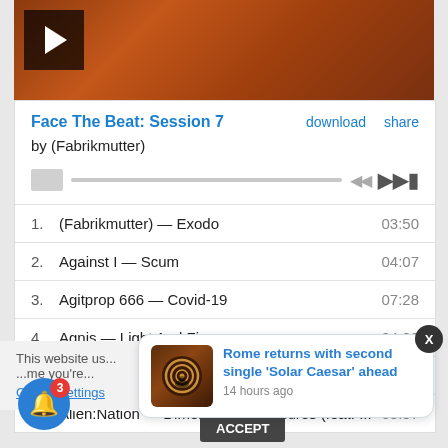[Figure (photo): Album/media hero image with orange-brown textured background and play button overlay in top-left corner]
Face The Beat: Session 7    download    share
by (Fabrikmutter)
[Figure (other): Audio player progress bar with thumb and next/previous controls]
1.    (Fabrikmutter) — Exodo    03:50
2.    Against I — Scum    04:07
3.    Agitprop 666 — Covid-19    07:28
4.    Agnis — Light And Fire    04:22
5.    AL — Void    05:14
6.    Alien:Nation — Dimenxional Pleasures (feat. ...    03:57
This website us...
[Figure (other): Notification popup: Rome returns with second single 'Solar Caesar' ahead, 14 hours ago, with thumbnail image]